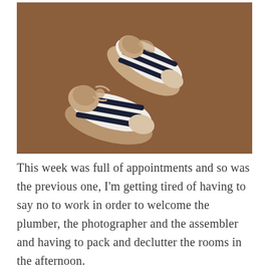[Figure (photo): Two small baby moccasin shoes with white leather body and dark navy horizontal stripes, with tan/nude leather trim around the ankle opening and a tie lace. Photographed from above on a warm brown/terracotta background.]
This week was full of appointments and so was the previous one, I'm getting tired of having to say no to work in order to welcome the plumber, the photographer and the assembler and having to pack and declutter the rooms in the afternoon.